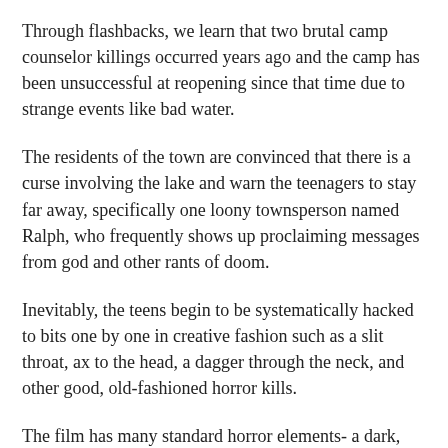Through flashbacks, we learn that two brutal camp counselor killings occurred years ago and the camp has been unsuccessful at reopening since that time due to strange events like bad water.
The residents of the town are convinced that there is a curse involving the lake and warn the teenagers to stay far away, specifically one loony townsperson named Ralph, who frequently shows up proclaiming messages from god and other rants of doom.
Inevitably, the teens begin to be systematically hacked to bits one by one in creative fashion such as a slit throat, ax to the head, a dagger through the neck, and other good, old-fashioned horror kills.
The film has many standard horror elements- a dark, ominous storm, a mysterious hidden killer lurking in the shadows, giving